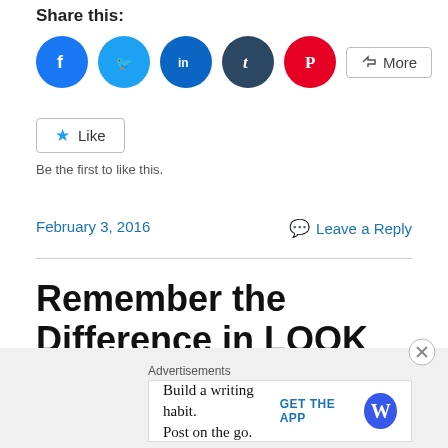Share this:
[Figure (other): Social sharing icons: Facebook (blue circle), Twitter (light blue circle), LinkedIn (blue circle), Tumblr (dark blue circle), Pinterest (red circle), and a More button]
[Figure (other): Like button with star icon]
Be the first to like this.
February 3, 2016
Leave a Reply
Remember the Difference in LOOK between Positive and Negative Slope
Advertisements
Build a writing habit. Post on the go.
GET THE APP